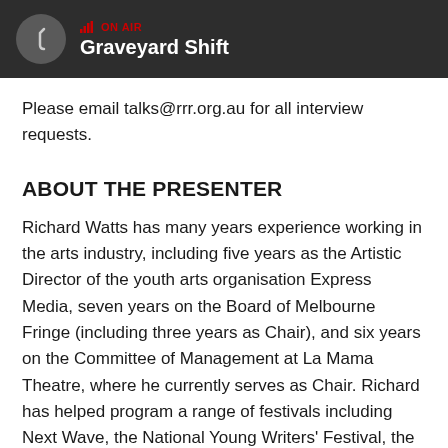ON AIR — Graveyard Shift
Please email talks@rrr.org.au for all interview requests.
ABOUT THE PRESENTER
Richard Watts has many years experience working in the arts industry, including five years as the Artistic Director of the youth arts organisation Express Media, seven years on the Board of Melbourne Fringe (including three years as Chair), and six years on the Committee of Management at La Mama Theatre, where he currently serves as Chair. Richard has helped program a range of festivals including Next Wave, the National Young Writers' Festival, the Melbourne Queer Film Festival and the Emerging Writers' Festival, blah blah blah...